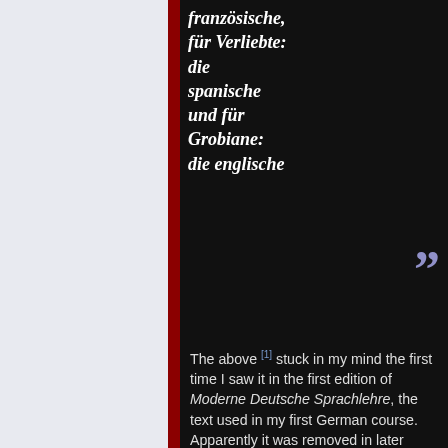französische, für Verliebte: die spanische und für Grobiane: die englische
The above [1] stuck in my mind the first time I saw it in the first edition of Moderne Deutsche Sprachlehre, the text used in my first German course. Apparently it was removed in later editions, so don't look for it :)
Aphorism Perseverated
| Received Programming Language A | Applications |
| --- | --- |
| Functional Area | Language/Package P |